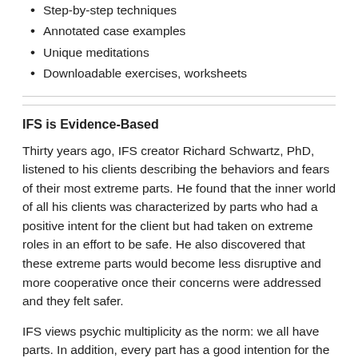Step-by-step techniques
Annotated case examples
Unique meditations
Downloadable exercises, worksheets
IFS is Evidence-Based
Thirty years ago, IFS creator Richard Schwartz, PhD, listened to his clients describing the behaviors and fears of their most extreme parts. He found that the inner world of all his clients was characterized by parts who had a positive intent for the client but had taken on extreme roles in an effort to be safe. He also discovered that these extreme parts would become less disruptive and more cooperative once their concerns were addressed and they felt safer.
IFS views psychic multiplicity as the norm: we all have parts. In addition, every part has a good intention for the client, and every part has value. When clients listen to all their parts, they can heal their wounded parts.
Today, IFS, which has established a legacy of efficiency and effectiveness in treating many mental health issues, is being